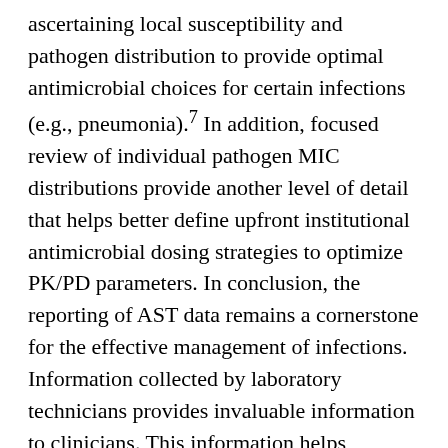ascertaining local susceptibility and pathogen distribution to provide optimal antimicrobial choices for certain infections (e.g., pneumonia).7 In addition, focused review of individual pathogen MIC distributions provide another level of detail that helps better define upfront institutional antimicrobial dosing strategies to optimize PK/PD parameters. In conclusion, the reporting of AST data remains a cornerstone for the effective management of infections. Information collected by laboratory technicians provides invaluable information to clinicians. This information helps optimize the selection and dosing of antimicrobial agents at the bedside, which in turn improves the clinical management of patients and infection-related